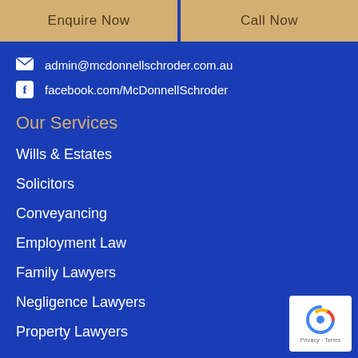Enquire Now
Call Now
admin@mcdonnellschroder.com.au
facebook.com/McDonnellSchroder
Our Services
Wills & Estates
Solicitors
Conveyancing
Employment Law
Family Lawyers
Negligence Lawyers
Property Lawyers
[Figure (logo): reCAPTCHA badge with Privacy and Terms text]